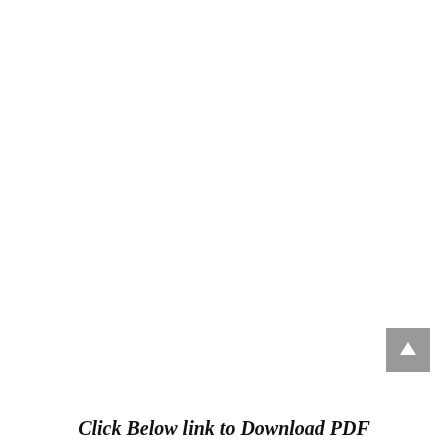[Figure (other): Gray square button with a white upward-pointing arrow, positioned in the lower-right area of the page]
Click Below link to Download PDF